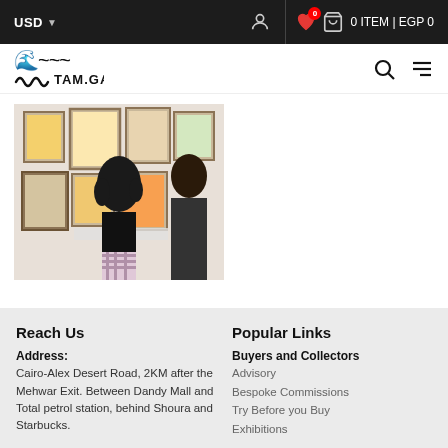USD ▼   [user icon]  [heart 0]  [cart]  0 ITEM | EGP 0
TAM.GALLERY  [search] [menu]
[Figure (photo): Two visitors from the back viewing framed artwork on a gallery wall. Multiple colorful framed pieces are displayed. One visitor has curly dark hair and wears a plaid skirt.]
Reach Us
Address:
Cairo-Alex Desert Road, 2KM after the Mehwar Exit. Between Dandy Mall and Total petrol station, behind Shoura and Starbucks.
Popular Links
Buyers and Collectors
Advisory
Bespoke Commissions
Try Before you Buy
Exhibitions